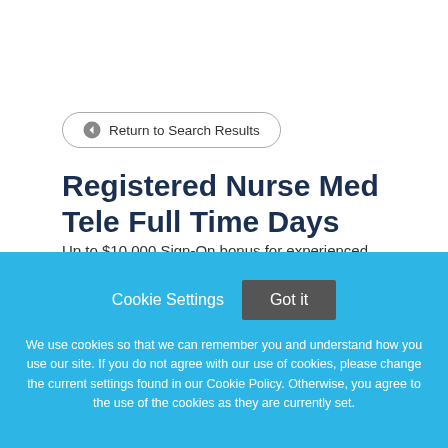← Return to Search Results
Registered Nurse Med Tele Full Time Days
Up to $10,000 Sign-On bonus for experienced Registered
Cookie Settings   Got it
We use cookies so that we can remember you and understand how you use our site. If you do not agree with our use of cookies, please change the current settings found in our Cookie Policy. Otherwise, you agree to the use of the cookies as they are currently set.